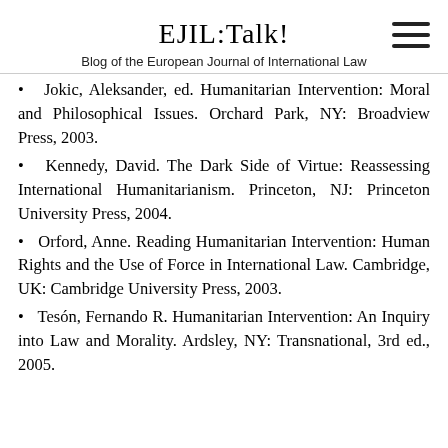EJIL:Talk!
Blog of the European Journal of International Law
Jokic, Aleksander, ed. Humanitarian Intervention: Moral and Philosophical Issues. Orchard Park, NY: Broadview Press, 2003.
Kennedy, David. The Dark Side of Virtue: Reassessing International Humanitarianism. Princeton, NJ: Princeton University Press, 2004.
Orford, Anne. Reading Humanitarian Intervention: Human Rights and the Use of Force in International Law. Cambridge, UK: Cambridge University Press, 2003.
Tesón, Fernando R. Humanitarian Intervention: An Inquiry into Law and Morality. Ardsley, NY: Transnational, 3rd ed., 2005.